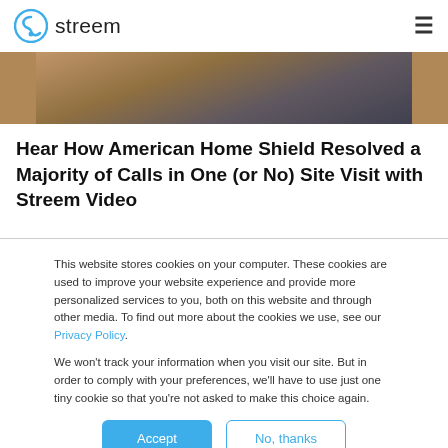streem
[Figure (photo): Partial photo showing autumn leaves and a dark object on a wooden surface]
Hear How American Home Shield Resolved a Majority of Calls in One (or No) Site Visit with Streem Video
This website stores cookies on your computer. These cookies are used to improve your website experience and provide more personalized services to you, both on this website and through other media. To find out more about the cookies we use, see our Privacy Policy.
We won't track your information when you visit our site. But in order to comply with your preferences, we'll have to use just one tiny cookie so that you're not asked to make this choice again.
Accept | No, thanks